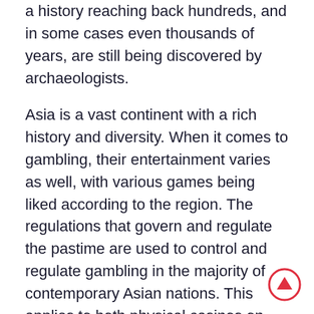a history reaching back hundreds, and in some cases even thousands of years, are still being discovered by archaeologists.
Asia is a vast continent with a rich history and diversity. When it comes to gambling, their entertainment varies as well, with various games being liked according to the region. The regulations that govern and regulate the pastime are used to control and regulate gambling in the majority of contemporary Asian nations. This applies to both physical casinos on the continent as well as online casinos.
Asia is home to half of the world's population, therefore it should not be surprising that online casinos are very well-liked there. Asians have benefited from playing and winning at this online activity ever since the first online casino launched in the late 1990s.